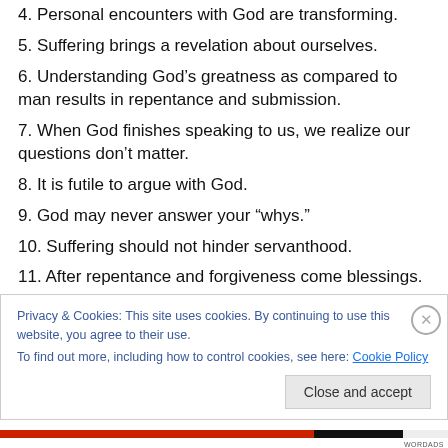4. Personal encounters with God are transforming.
5. Suffering brings a revelation about ourselves.
6. Understanding God’s greatness as compared to man results in repentance and submission.
7. When God finishes speaking to us, we realize our questions don’t matter.
8. It is futile to argue with God.
9. God may never answer your “whys.”
10. Suffering should not hinder servanthood.
11. After repentance and forgiveness come blessings.
12. Don’t become discouraged during the in-between.
Privacy & Cookies: This site uses cookies. By continuing to use this website, you agree to their use. To find out more, including how to control cookies, see here: Cookie Policy
Close and accept